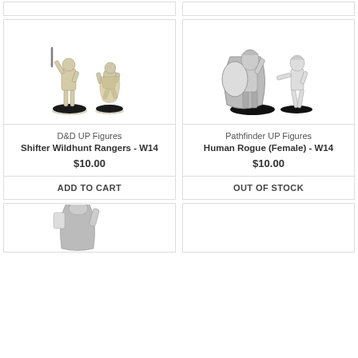[Figure (photo): Two unpainted D&D miniature figures on black bases - Shifter Wildhunt Rangers]
D&D UP Figures
Shifter Wildhunt Rangers - W14
$10.00
ADD TO CART
[Figure (photo): Two unpainted Pathfinder miniature figures on black bases - Human Rogue Female W14]
Pathfinder UP Figures
Human Rogue (Female) - W14
$10.00
OUT OF STOCK
[Figure (photo): Partial view of another miniature figure at bottom left]
[Figure (photo): Empty or partial card at bottom right]